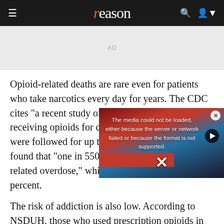reason
[Figure (other): AD placeholder box]
Opioid-related deaths are rare even for patients who take narcotics every day for years. The CDC cites "a recent study of patients aged 15–64 years receiving opioids for chronic noncancer pain" who were followed for up to 13 years. The researchers found that "one in 550 patients died from opioid-related overdose," which is a risk of less than 0.2 percent.
[Figure (screenshot): Video player overlay showing error message: 'The media could not be loaded, either because the server or network failed or because the format is not supported.' with a close button and play button over a protest image background.]
The risk of addiction is also low. According to NSDUH, those who used prescription opioids in 2012 resulted in a diagnosis of "pain reliever use disorder or abuse," or one f
According to NSDUH, only a quarter of people who take